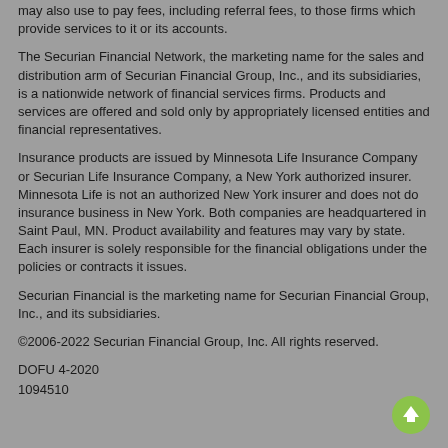may also use to pay fees, including referral fees, to those firms which provide services to it or its accounts.
The Securian Financial Network, the marketing name for the sales and distribution arm of Securian Financial Group, Inc., and its subsidiaries, is a nationwide network of financial services firms. Products and services are offered and sold only by appropriately licensed entities and financial representatives.
Insurance products are issued by Minnesota Life Insurance Company or Securian Life Insurance Company, a New York authorized insurer. Minnesota Life is not an authorized New York insurer and does not do insurance business in New York. Both companies are headquartered in Saint Paul, MN. Product availability and features may vary by state. Each insurer is solely responsible for the financial obligations under the policies or contracts it issues.
Securian Financial is the marketing name for Securian Financial Group, Inc., and its subsidiaries.
©2006-2022 Securian Financial Group, Inc. All rights reserved.
DOFU 4-2020
1094510